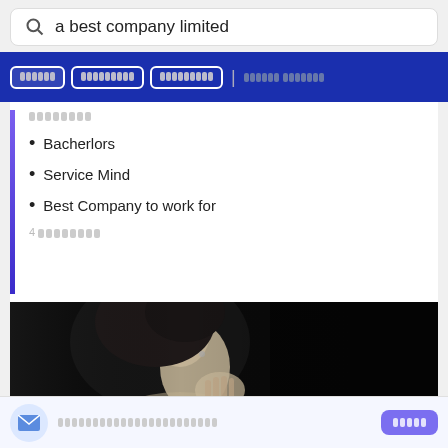a best company limited
[Figure (screenshot): Navigation tab bar with blue background showing Thai-language filter tabs]
[Thai text label]
Bacherlors
Service Mind
Best Company to work for
4 [Thai text]
[Figure (photo): Black and white portrait photo of a woman touching her neck/chin, wearing an earring and ring]
[Thai footer notification text]
[Thai subscribe button text]